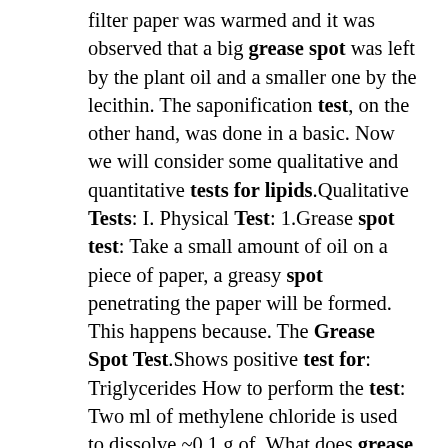filter paper was warmed and it was observed that a big grease spot was left by the plant oil and a smaller one by the lecithin. The saponification test, on the other hand, was done in a basic. Now we will consider some qualitative and quantitative tests for lipids.Qualitative Tests: I. Physical Test: 1.Grease spot test: Take a small amount of oil on a piece of paper, a greasy spot penetrating the paper will be formed. This happens because. The Grease Spot Test.Shows positive test for: Triglycerides How to perform the test: Two ml of methylene chloride is used to dissolve ~0.1 g of. What does grease spot test indicate? Grease spot test is one of the tests for lipid identification. The working principle is that most lipid or grease are non-volatile due to their high boiling point. Thus, lipid diffracts the light ray so that light can pass from one side of the paper to another side. This